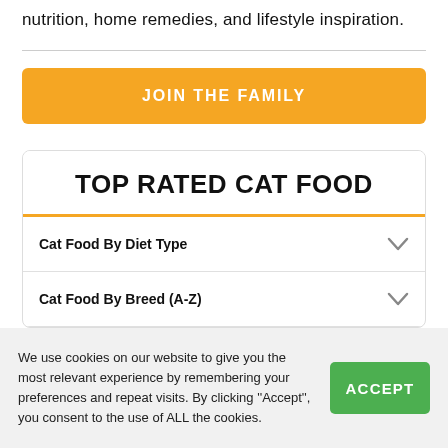nutrition, home remedies, and lifestyle inspiration.
Cat Food By Diet Type
Cat Food By Breed (A-Z)
Cat Food By Health Condition
Cat Food For Sensitive Cats
TOP RATED CAT FOOD
We use cookies on our website to give you the most relevant experience by remembering your preferences and repeat visits. By clicking "Accept", you consent to the use of ALL the cookies.